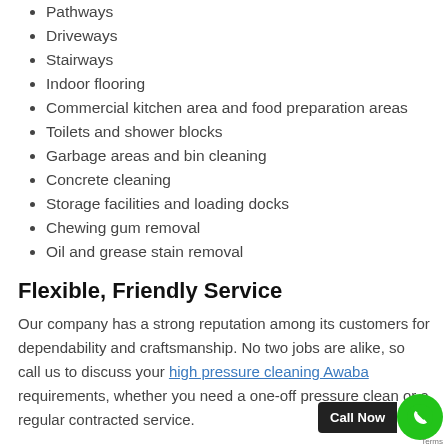Pathways
Driveways
Stairways
Indoor flooring
Commercial kitchen area and food preparation areas
Toilets and shower blocks
Garbage areas and bin cleaning
Concrete cleaning
Storage facilities and loading docks
Chewing gum removal
Oil and grease stain removal
Flexible, Friendly Service
Our company has a strong reputation among its customers for dependability and craftsmanship. No two jobs are alike, so call us to discuss your high pressure cleaning Awaba requirements, whether you need a one-off pressure clean or a regular contracted service.